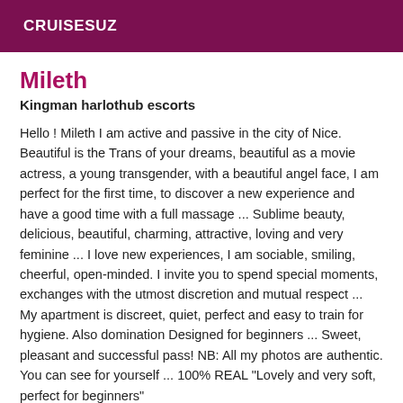CRUISESUZ
Mileth
Kingman harlothub escorts
Hello ! Mileth I am active and passive in the city of Nice. Beautiful is the Trans of your dreams, beautiful as a movie actress, a young transgender, with a beautiful angel face, I am perfect for the first time, to discover a new experience and have a good time with a full massage ... Sublime beauty, delicious, beautiful, charming, attractive, loving and very feminine ... I love new experiences, I am sociable, smiling, cheerful, open-minded. I invite you to spend special moments, exchanges with the utmost discretion and mutual respect ... My apartment is discreet, quiet, perfect and easy to train for hygiene. Also domination Designed for beginners ... Sweet, pleasant and successful pass! NB: All my photos are authentic. You can see for yourself ... 100% REAL "Lovely and very soft, perfect for beginners"